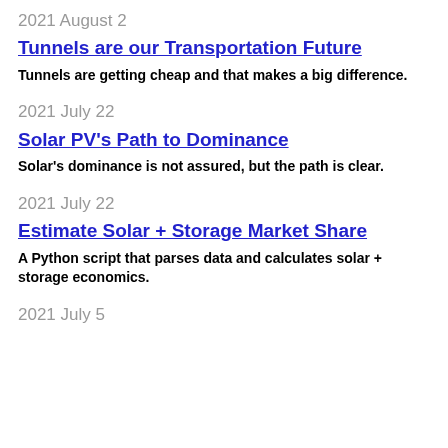2021 August 2
Tunnels are our Transportation Future
Tunnels are getting cheap and that makes a big difference.
2021 July 22
Solar PV's Path to Dominance
Solar's dominance is not assured, but the path is clear.
2021 July 22
Estimate Solar + Storage Market Share
A Python script that parses data and calculates solar + storage economics.
2021 July 5